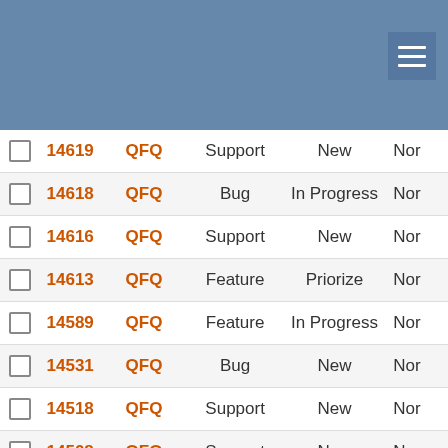|  | ID | Project | Type | Status | Priority |
| --- | --- | --- | --- | --- | --- |
|  | 14619 | QFQ | Support | New | Nor |
|  | 14618 | QFQ | Bug | In Progress | Nor |
|  | 14616 | QFQ | Support | New | Nor |
|  | 14613 | QFQ | Feature | Priorize | Nor |
|  | 14589 | QFQ | Feature | In Progress | Nor |
|  | 14531 | QFQ | Bug | New | Nor |
|  | 14518 | QFQ | Support | New | Nor |
|  | 14508 | QFQ | Support | New | Nor |
|  | 14504 | QFQ | Support | New | Nor |
|  | 14495 | QFQ | Support | New | Nor |